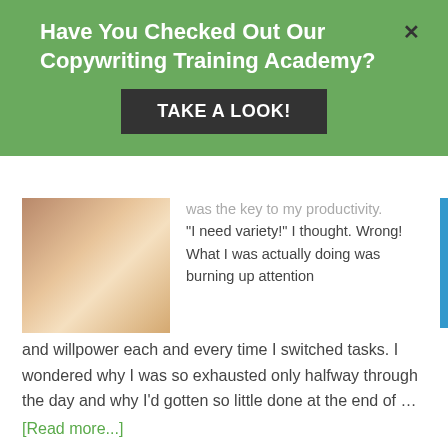Have You Checked Out Our Copywriting Training Academy?
TAKE A LOOK!
was the key to my productivity. "I need variety!" I thought. Wrong! What I was actually doing was burning up attention and willpower each and every time I switched tasks. I wondered why I was so exhausted only halfway through the day and why I'd gotten so little done at the end of …
[Read more...]
The Case for Slowing Down: Fast Copywriting